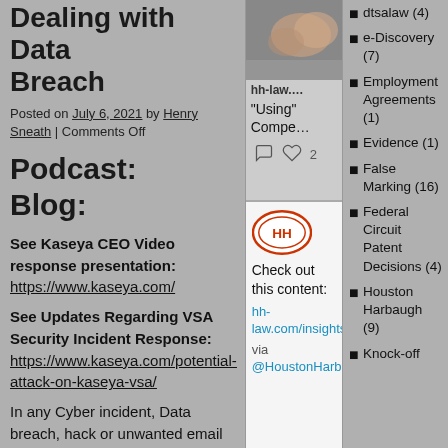Dealing with Data Breach
Posted on July 6, 2021 by Henry Sneath | Comments Off
Podcast:
Blog:
See Kaseya CEO Video response presentation:
https://www.kaseya.com/
See Updates Regarding VSA Security Incident Response:
https://www.kaseya.com/potential-attack-on-kaseya-vsa/
In any Cyber incident, Data breach, hack or unwanted email intrusion, like the recent Kaseya...
[Figure (screenshot): Social media card with image, site: hh-law..., title: "Using" Compe..., with comment and heart icons]
[Figure (screenshot): Social media card with HH logo, text: Check out this content: hh-law.com/insights/blog/... via @HoustonHarbaugh]
dtsalaw (4)
e-Discovery (7)
Employment Agreements (1)
Evidence (1)
False Marking (16)
Federal Circuit Patent Decisions (4)
Houston Harbaugh (9)
Knock-off